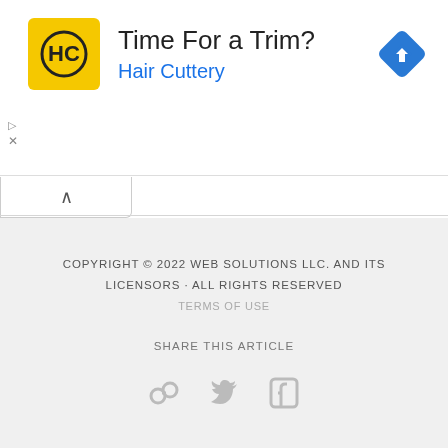[Figure (advertisement): Hair Cuttery ad banner with yellow logo, 'Time For a Trim?' headline, 'Hair Cuttery' in blue, and a blue diamond navigation icon]
COPYRIGHT © 2022 WEB SOLUTIONS LLC. AND ITS LICENSORS · ALL RIGHTS RESERVED
TERMS OF USE
SHARE THIS ARTICLE
[Figure (infographic): Three social share icons: link/chain icon, Twitter bird icon, Facebook icon — all in light gray]